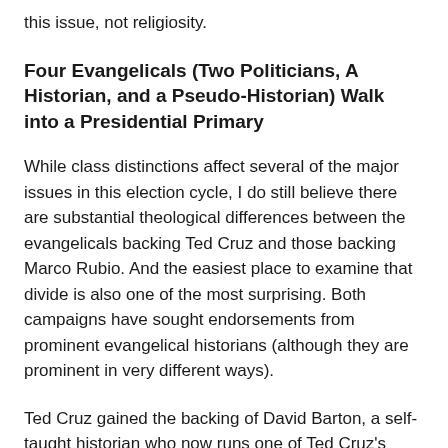this issue, not religiosity.
Four Evangelicals (Two Politicians, A Historian, and a Pseudo-Historian) Walk into a Presidential Primary
While class distinctions affect several of the major issues in this election cycle, I do still believe there are substantial theological differences between the evangelicals backing Ted Cruz and those backing Marco Rubio. And the easiest place to examine that divide is also one of the most surprising. Both campaigns have sought endorsements from prominent evangelical historians (although they are prominent in very different ways).
Ted Cruz gained the backing of David Barton, a self-taught historian who now runs one of Ted Cruz's multi-million dollar Super PACs. Barton's books and